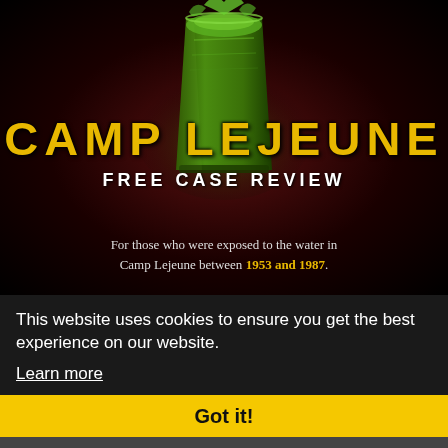[Figure (illustration): Dark red/black background with a glass of green contaminated water, central focus of the Camp Lejeune advertisement banner]
CAMP LEJEUNE
FREE CASE REVIEW
For those who were exposed to the water in Camp Lejeune between 1953 and 1987.
This website uses cookies to ensure you get the best experience on our website.
Learn more
Got it!